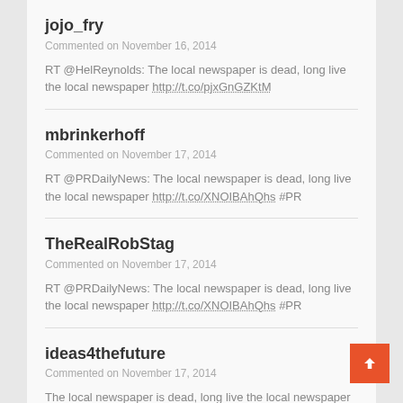jojo_fry
Commented on November 16, 2014
RT @HelReynolds: The local newspaper is dead, long live the local newspaper http://t.co/pjxGnGZKtM
mbrinkerhoff
Commented on November 17, 2014
RT @PRDailyNews: The local newspaper is dead, long live the local newspaper http://t.co/XNOIBAhQhs #PR
TheRealRobStag
Commented on November 17, 2014
RT @PRDailyNews: The local newspaper is dead, long live the local newspaper http://t.co/XNOIBAhQhs #PR
ideas4thefuture
Commented on November 17, 2014
The local newspaper is dead, long live the local newspaper